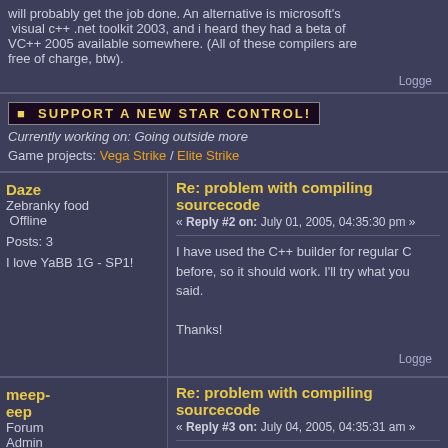will probably get the job done. An alternative is microsoft's visual c++ .net toolkit 2003, and i heard they had a beta of VC++ 2005 available somewhere. (All of these compilers are free of charge, btw).
Logged
[Figure (other): Support a new Star Control! banner image]
Currently working on: Going outside more
Game projects: Vega Strike / Elite Strike
Daze
Zebranky food
Offline
Posts: 3
I love YaBB 1G - SP1!
Re: problem with compiling sourcecode
« Reply #2 on: July 01, 2005, 04:35:30 pm »
I have used the C++ builder for regular C before, so it should work. I'll try what you said.

Thanks!
Logged
meep-eep
Forum Admin Enlightened
Offline
Posts: 2847
Re: problem with compiling sourcecode
« Reply #3 on: July 04, 2005, 04:35:31 am »
UQM comes with project files for MS dev studio, as that's what the Windows developers use, but none for Borland. You'd have to make your own for that. If you join us on IRC we may be able to give you some tips as you go along.